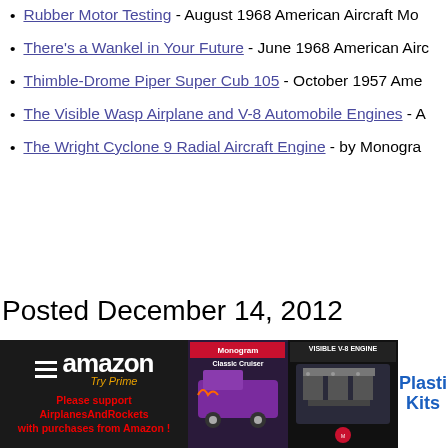Rubber Motor Testing - August 1968 American Aircraft Mo...
There's a Wankel in Your Future - June 1968 American Airc...
Thimble-Drome Piper Super Cub 105 - October 1957 Amer...
The Visible Wasp Airplane and V-8 Automobile Engines - A...
The Wright Cyclone 9 Radial Aircraft Engine - by Monogra...
Posted December 14, 2012
[Figure (other): Amazon Try Prime advertisement banner with text: Please support AirplanesAndRockets with purchases from Amazon!, followed by model kit product images including Classic Cruiser truck and Visible V-8 Engine, and a Plastic Kits section.]